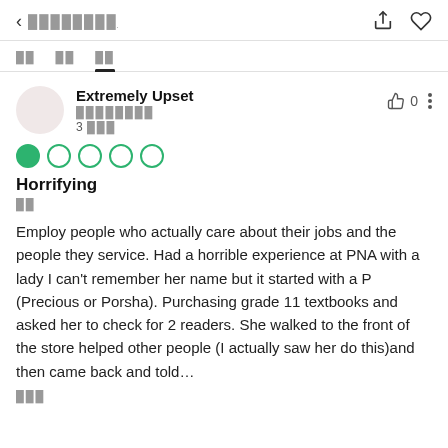< ░░░░░░░░
░░   ░░   ░░ (tabs: tab bar with 3 items, third active)
Extremely Upset
░░░░░░░░
3 ░░░
[Figure (other): 1 out of 5 green circle rating (one filled green circle, four empty circles)]
Horrifying
░░
Employ people who actually care about their jobs and the people they service. Had a horrible experience at PNA with a lady I can't remember her name but it started with a P (Precious or Porsha). Purchasing grade 11 textbooks and asked her to check for 2 readers. She walked to the front of the store helped other people (I actually saw her do this)and then came back and told…